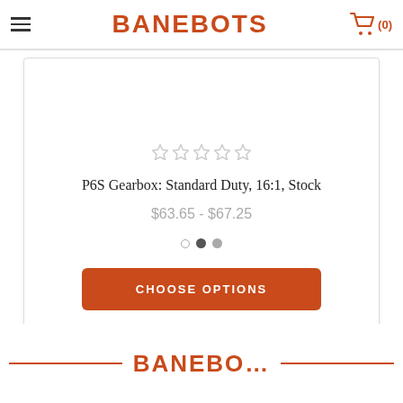BANEBOTS
[Figure (screenshot): Product card for P6S Gearbox showing star rating, product title, price range, carousel dots, and choose options button]
P6S Gearbox: Standard Duty, 16:1, Stock
$63.65 - $67.25
BANEBO...